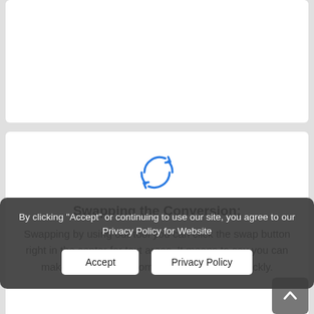[Figure (illustration): Blue circular swap/refresh arrows icon]
Swapping the Conversion:
Swapping by using our tool you can click the swap button right in the center for text areas. It means to say you can make a conversion from decimal to binary quickly.
By clicking "Accept" or continuing to use our site, you agree to our Privacy Policy for Website
Accept
Privacy Policy